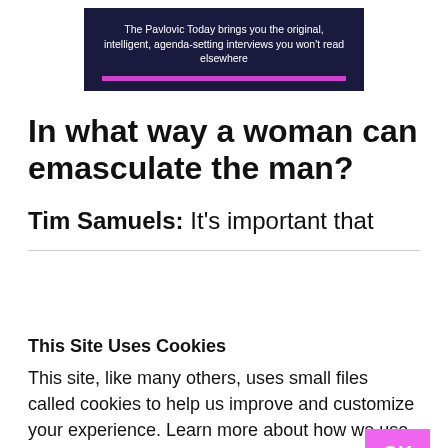The Pavlovic Today brings you the original, intelligent, agenda-setting interviews you won't read elsewhere
In what way a woman can emasculate the man?
Tim Samuels: It's important that
This Site Uses Cookies
This site, like many others, uses small files called cookies to help us improve and customize your experience. Learn more about how we use cookies in our cookie policy.
OK